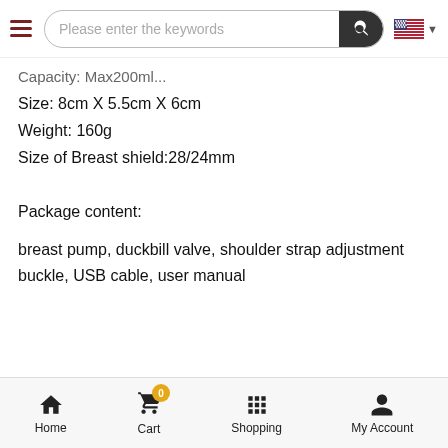Please enter the keywords
Capacity: Max200ml...
Size: 8cm X 5.5cm X 6cm
Weight: 160g
Size of Breast shield:28/24mm
Package content:
breast pump, duckbill valve, shoulder strap adjustment buckle, USB cable, user manual
Home  Cart  Shopping  My Account